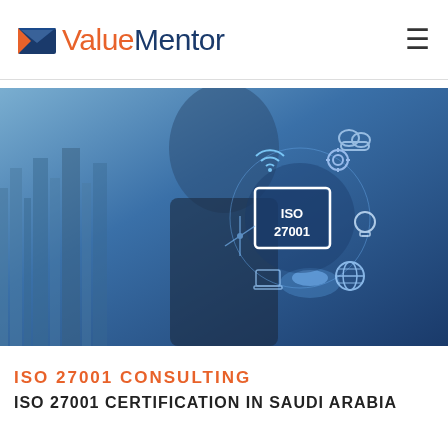ValueMentor
[Figure (photo): Person in a business suit pointing finger toward floating digital icons including WiFi, cloud, gear, lightbulb, globe, and a glowing box labeled 'ISO 27001'. City skyline visible in the background with a blue digital overlay.]
ISO 27001 CONSULTING
ISO 27001 CERTIFICATION IN SAUDI ARABIA